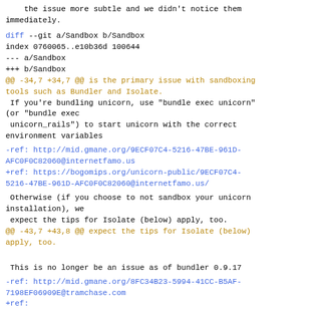the issue more subtle and we didn't notice them
immediately.
diff --git a/Sandbox b/Sandbox
index 0760065..e10b36d 100644
--- a/Sandbox
+++ b/Sandbox
@@ -34,7 +34,7 @@ is the primary issue with sandboxing
tools such as Bundler and Isolate.
 If you're bundling unicorn, use "bundle exec unicorn"
(or "bundle exec
 unicorn_rails") to start unicorn with the correct
environment variables
-ref: http://mid.gmane.org/9ECF07C4-5216-47BE-961D-AFC0F0C82060@internetfamo.us
+ref: https://bogomips.org/unicorn-public/9ECF07C4-5216-47BE-961D-AFC0F0C82060@internetfamo.us/
Otherwise (if you choose to not sandbox your unicorn
installation), we
 expect the tips for Isolate (below) apply, too.
@@ -43,7 +43,8 @@ expect the tips for Isolate (below)
apply, too.
This is no longer be an issue as of bundler 0.9.17
-ref: http://mid.gmane.org/8FC34B23-5994-41CC-B5AF-7198EF06909E@tramchase.com
+ref: